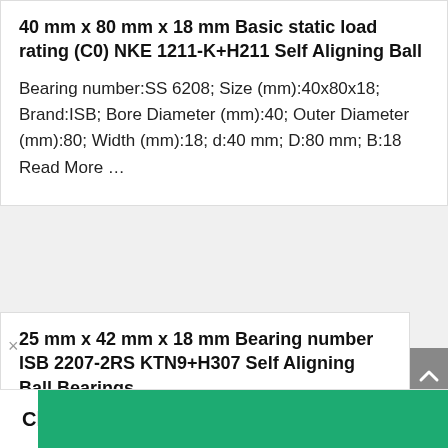40 mm x 80 mm x 18 mm Basic static load rating (C0) NKE 1211-K+H211 Self Aligning Ball
Bearing number:SS 6208; Size (mm):40x80x18; Brand:ISB; Bore Diameter (mm):40; Outer Diameter (mm):80; Width (mm):18; d:40 mm; D:80 mm; B:18 Read More …
25 mm x 42 mm x 18 mm Bearing number ISB 2207-2RS KTN9+H307 Self Aligning Ball Bearings